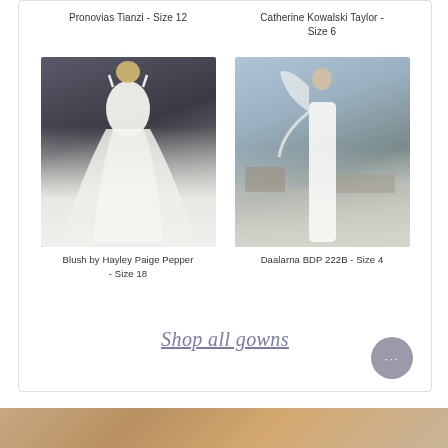Pronovias Tianzi - Size 12
Catherine Kowalski Taylor - Size 6
[Figure (photo): Model wearing Blush by Hayley Paige Pepper white ball gown with tulle skirt, against dark background]
[Figure (photo): Model wearing Daalarna BDP 222B white one-shoulder sheath gown on rooftop with city skyline]
Blush by Hayley Paige Pepper - Size 18
Daalarna BDP 222B - Size 4
Shop all gowns